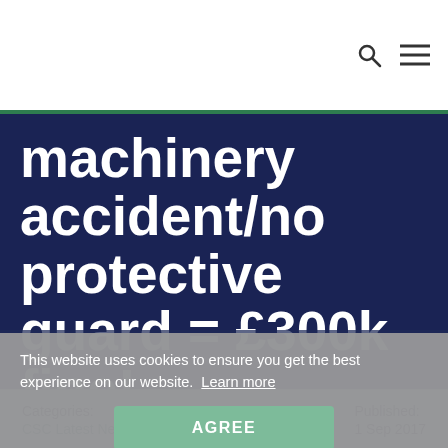machinery accident/no protective guard = £300k fine!
This website uses cookies to ensure you get the best experience on our website. Learn more
AGREE
Categories: CSC Latest News, Health and Safety
Published: 1 Sep 2017